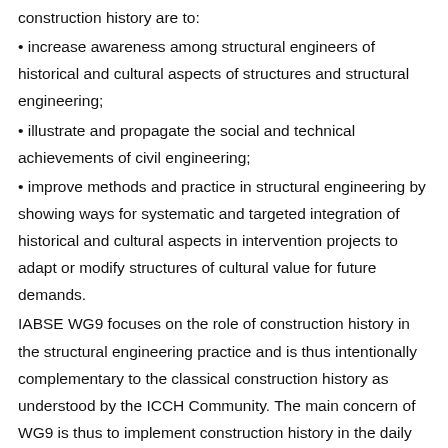construction history are to:
• increase awareness among structural engineers of historical and cultural aspects of structures and structural engineering;
• illustrate and propagate the social and technical achievements of civil engineering;
• improve methods and practice in structural engineering by showing ways for systematic and targeted integration of historical and cultural aspects in intervention projects to adapt or modify structures of cultural value for future demands.
IABSE WG9 focuses on the role of construction history in the structural engineering practice and is thus intentionally complementary to the classical construction history as understood by the ICCH Community. The main concern of WG9 is thus to implement construction history in the daily work of structural engineers and to use it to improve the work of